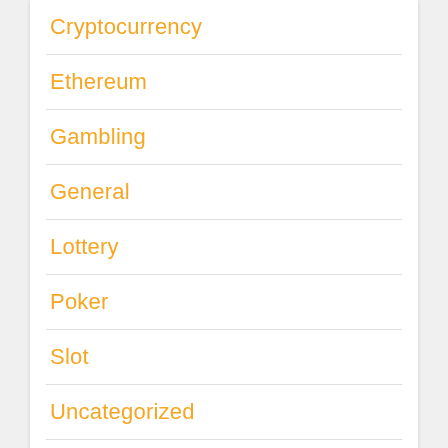Cryptocurrency
Ethereum
Gambling
General
Lottery
Poker
Slot
Uncategorized
Virtual Money